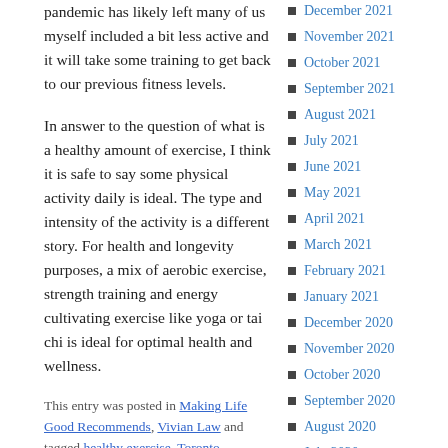pandemic has likely left many of us myself included a bit less active and it will take some training to get back to our previous fitness levels.
In answer to the question of what is a healthy amount of exercise, I think it is safe to say some physical activity daily is ideal. The type and intensity of the activity is a different story. For health and longevity purposes, a mix of aerobic exercise, strength training and energy cultivating exercise like yoga or tai chi is ideal for optimal health and wellness.
This entry was posted in Making Life Good Recommends, Vivian Law and tagged healthy exercise, Toronto Acupuncture, traditional chinese medicine, Vivian Law. Bookmark the permalink.
December 2021
November 2021
October 2021
September 2021
August 2021
July 2021
June 2021
May 2021
April 2021
March 2021
February 2021
January 2021
December 2020
November 2020
October 2020
September 2020
August 2020
July 2020